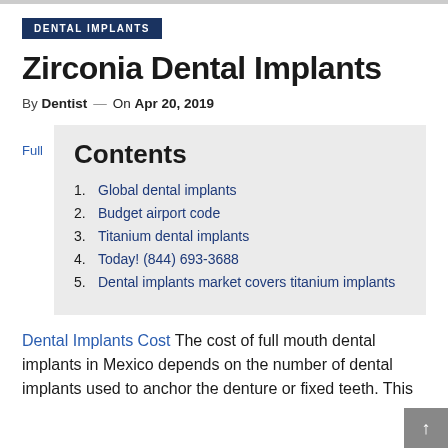DENTAL IMPLANTS
Zirconia Dental Implants
By Dentist — On Apr 20, 2019
Full
Contents
1. Global dental implants
2. Budget airport code
3. Titanium dental implants
4. Today! (844) 693-3688
5. Dental implants market covers titanium implants
Dental Implants Cost The cost of full mouth dental implants in Mexico depends on the number of dental implants used to anchor the denture or fixed teeth. This